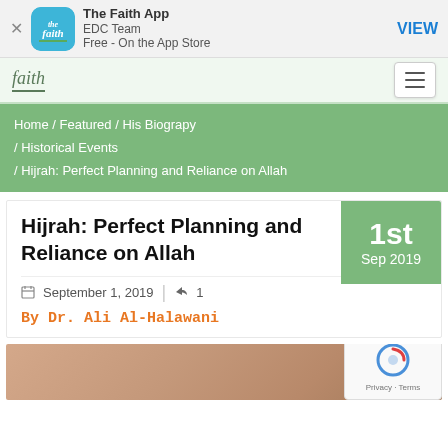[Figure (screenshot): App Store banner for 'The Faith App' by EDC Team, Free on the App Store, with a VIEW button]
faith (logo) | hamburger menu
Home / Featured / His Biograpy / Historical Events / Hijrah: Perfect Planning and Reliance on Allah
Hijrah: Perfect Planning and Reliance on Allah
1st Sep 2019
September 1, 2019 | 1
By Dr. Ali Al-Halawani
[Figure (photo): Partial photo of a document or paper at the bottom of the page]